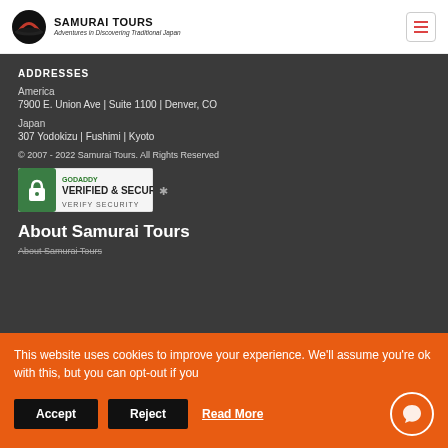SAMURAI TOURS - Adventures in Discovering Traditional Japan
ADDRESSES
America
7900 E. Union Ave | Suite 1100 | Denver, CO
Japan
307 Yodokizu | Fushimi | Kyoto
© 2007 - 2022 Samurai Tours. All Rights Reserved
[Figure (logo): GoDaddy Verified & Secured badge]
About Samurai Tours
About Samurai Tours
This website uses cookies to improve your experience. We'll assume you're ok with this, but you can opt-out if you
Accept
Reject
Read More